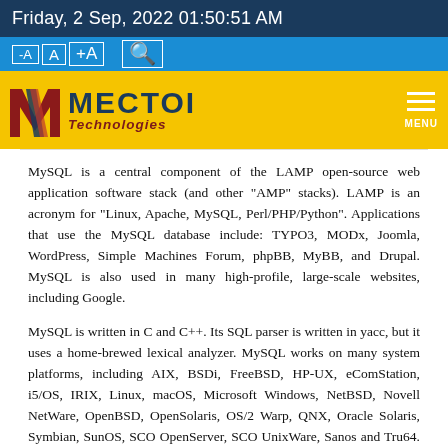Friday, 2 Sep, 2022 01:50:51 AM
[Figure (logo): Mectoi Technologies logo with yellow background, stylized M mark in red and navy, bold navy MECTOI text and italic dark red Technologies subtitle, hamburger menu icon on right]
MySQL is a central component of the LAMP open-source web application software stack (and other "AMP" stacks). LAMP is an acronym for "Linux, Apache, MySQL, Perl/PHP/Python". Applications that use the MySQL database include: TYPO3, MODx, Joomla, WordPress, Simple Machines Forum, phpBB, MyBB, and Drupal. MySQL is also used in many high-profile, large-scale websites, including Google.
MySQL is written in C and C++. Its SQL parser is written in yacc, but it uses a home-brewed lexical analyzer. MySQL works on many system platforms, including AIX, BSDi, FreeBSD, HP-UX, eComStation, i5/OS, IRIX, Linux, macOS, Microsoft Windows, NetBSD, Novell NetWare, OpenBSD, OpenSolaris, OS/2 Warp, QNX, Oracle Solaris, Symbian, SunOS, SCO OpenServer, SCO UnixWare, Sanos and Tru64. A port of MySQL to OpenVMS also exists.